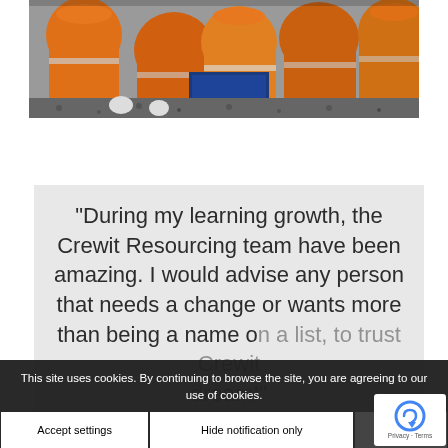[Figure (photo): A group of railway workers wearing orange high-visibility jackets and white gloves, crouched around rail equipment (a blue metal box/tool) on a railway track with gravel ballast.]
“During my learning growth, the Crewit Resourcing team have been amazing. I would advise any person that needs a change or wants more than being a name on a list, to trust Crewit dream!”
This site uses cookies. By continuing to browse the site, you are agreeing to our use of cookies.